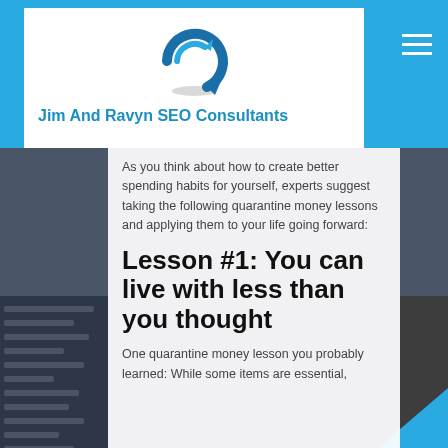[Figure (logo): Jim And Ravyn SEO Consultants logo with circular arrow icon in blue]
Jim And Ravyn SEO Consultants
[Figure (photo): Background photo showing a dark computer/tech workspace]
As you think about how to create better spending habits for yourself, experts suggest taking the following quarantine money lessons and applying them to your life going forward:
Lesson #1: You can live with less than you thought
One quarantine money lesson you probably learned: While some items are essential,